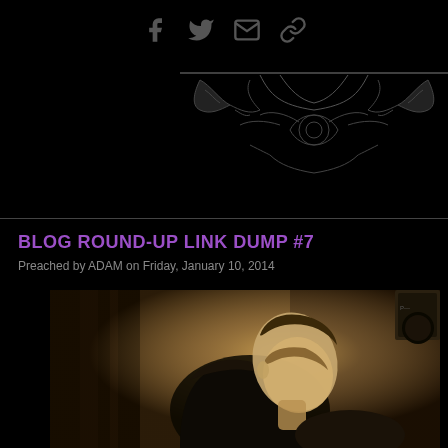Social icons: Facebook, Twitter, Email, Link
[Figure (illustration): Decorative ornamental flourish / scrollwork in dark gray on black background, positioned in upper right area]
BLOG ROUND-UP LINK DUMP #7
Preached by ADAM on Friday, January 10, 2014
[Figure (photo): Sepia-toned photograph of a young man with light hair leaning forward with head down, wearing dark clothing, in a dark atmospheric setting]